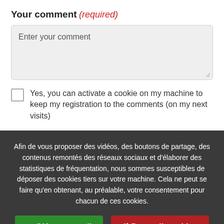Your comment (required)
[Figure (screenshot): Text area input box with placeholder text 'Enter your comment' on a light grey background with a resize handle in the bottom right corner.]
Yes, you can activate a cookie on my machine to keep my registration to the comments (on my next visits)
Afin de vous proposer des vidéos, des boutons de partage, des contenus remontés des réseaux sociaux et d'élaborer des statistiques de fréquentation, nous sommes susceptibles de déposer des cookies tiers sur votre machine. Cela ne peut se faire qu'en obtenant, au préalable, votre consentement pour chacun de ces cookies.
✓ OK, accept all
✗ Deny all cookies
Personalize